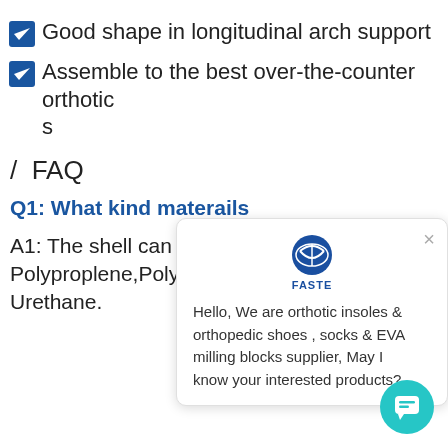Good shape in longitudinal arch support
Assemble to the best over-the-counter orthotics
/ FAQ
Q1: What kind materails
A1: The shell can be Polyproplene,Polycarbonate and Thermoplatic Urethane.
[Figure (screenshot): Chat popup with FASTE brand logo, close button (×), and message: Hello, We are orthotic insoles & orthopedic shoes , socks & EVA milling blocks supplier, May I know your interested products? with a teal chat button in bottom right.]